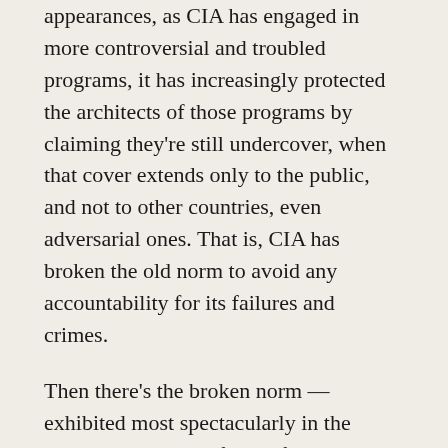appearances, as CIA has engaged in more controversial and troubled programs, it has increasingly protected the architects of those programs by claiming they're still undercover, when that cover extends only to the public, and not to other countries, even adversarial ones. That is, CIA has broken the old norm to avoid any accountability for its failures and crimes.
Then there's the broken norm — exhibited most spectacularly in the Torture Report — of classifying previously unclassified details, such as the names of all the lawyers who were involved in the torture program.
There's the increasing amounts of official leaking — up to and including CIA cooperating with Zero Dark Thirty to celebrate the work of Michael D'Andrea —